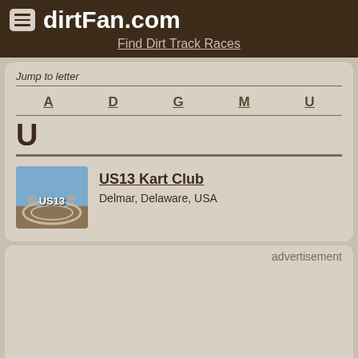dirtFan.com
Find Dirt Track Races
Jump to letter
A
D
G
M
U
U
US13 Kart Club
Delmar, Delaware, USA
advertisement